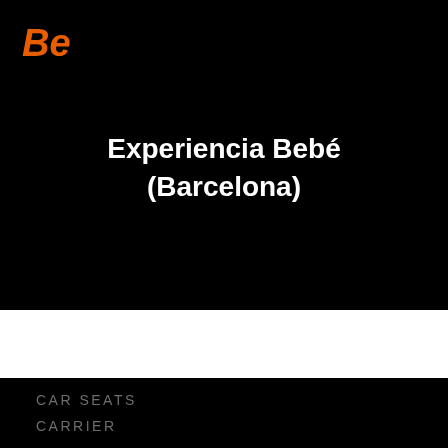[Figure (logo): Bold italic orange 'Be' logo in top-left corner on black background]
Experiencia Bebé (Barcelona)
CAR SEATS
CARRIER